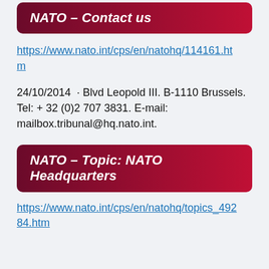NATO – Contact us
https://www.nato.int/cps/en/natohq/114161.htm
24/10/2014  · Blvd Leopold III. B-1110 Brussels. Tel: + 32 (0)2 707 3831. E-mail: mailbox.tribunal@hq.nato.int.
NATO – Topic: NATO Headquarters
https://www.nato.int/cps/en/natohq/topics_49284.htm